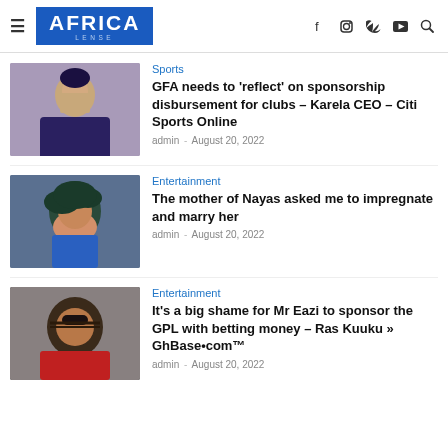AFRICA LENSE — navigation header with hamburger menu and social icons (f, instagram, twitter, youtube, search)
[Figure (photo): Man in suit speaking into a microphone, purple/grey background]
Sports
GFA needs to 'reflect' on sponsorship disbursement for clubs – Karela CEO – Citi Sports Online
admin · August 20, 2022
[Figure (photo): Woman with teal curly hair wearing a blue outfit]
Entertainment
The mother of Nayas asked me to impregnate and marry her
admin · August 20, 2022
[Figure (photo): Man with dreadlocks and sunglasses wearing a red outfit]
Entertainment
It's a big shame for Mr Eazi to sponsor the GPL with betting money – Ras Kuuku » GhBase•com™
admin · August 20, 2022